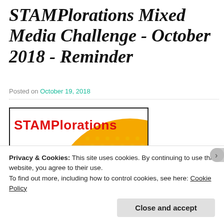STAMPlorations Mixed Media Challenge - October 2018 - Reminder
Posted on October 19, 2018
[Figure (logo): STAMPlorations Design Team badge/logo with red text 'STAMPlorations', black italic 'Design' text, orange semicircle background with dotted pattern, and illustrated face.]
Privacy & Cookies: This site uses cookies. By continuing to use this website, you agree to their use.
To find out more, including how to control cookies, see here: Cookie Policy
Close and accept